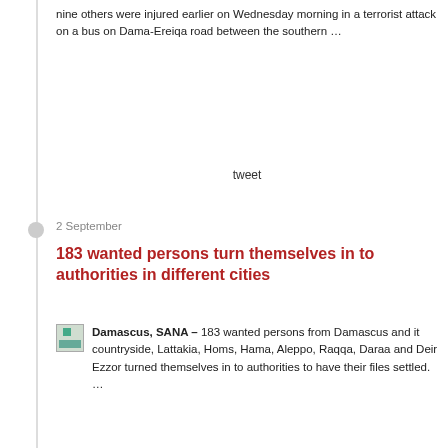nine others were injured earlier on Wednesday morning in a terrorist attack on a bus on Dama-Ereiqa road between the southern …
tweet
2 September
183 wanted persons turn themselves in to authorities in different cities
Damascus, SANA – 183 wanted persons from Damascus and it countryside, Lattakia, Homs, Hama, Aleppo, Raqqa, Daraa and Deir Ezzor turned themselves in to authorities to have their files settled. …
tweet
2 September
Terrorists killed across the country, their weaponry destroyed